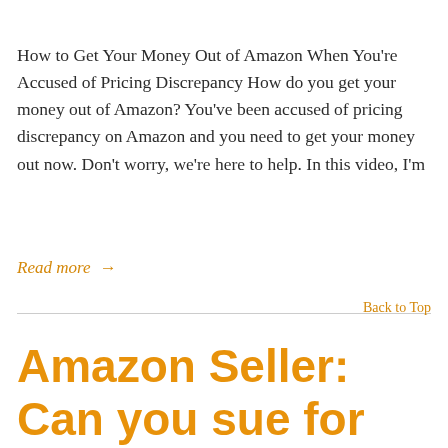How to Get Your Money Out of Amazon When You're Accused of Pricing Discrepancy How do you get your money out of Amazon? You've been accused of pricing discrepancy on Amazon and you need to get your money out now. Don't worry, we're here to help. In this video, I'm
Read more →
Back to Top
Amazon Seller: Can you sue for breach of contract?